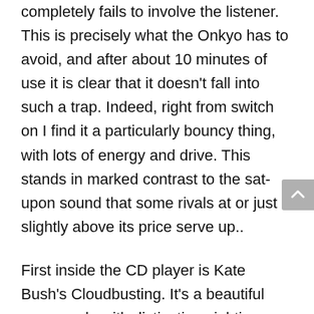completely fails to involve the listener. This is precisely what the Onkyo has to avoid, and after about 10 minutes of use it is clear that it doesn't fall into such a trap. Indeed, right from switch on I find it a particularly bouncy thing, with lots of energy and drive. This stands in marked contrast to the sat-upon sound that some rivals at or just slightly above its price serve up..
First inside the CD player is Kate Bush's Cloudbusting. It's a beautiful song made with distinctive eighties synthesisers and samplers, and can sound quite shut in, yet shrill on vocals. The Onkyo copes surprisingly well and rises to the challenge better than expected. Kate's voice...